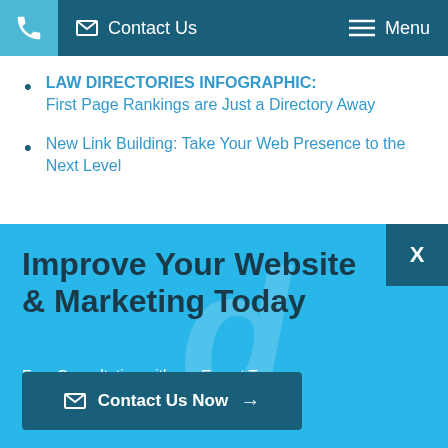☎ ✉ Contact Us  ≡ Menu
LAW DIRECTORIES INFOGRAPHIC: First Page Rankings are Just a Directory Away
New Link Building: Take Your Web Presence to the Next Level
SEO Analogies
Improve Your Website & Marketing Today
Free Consultation with our Expert Team
✉ Contact Us Now →